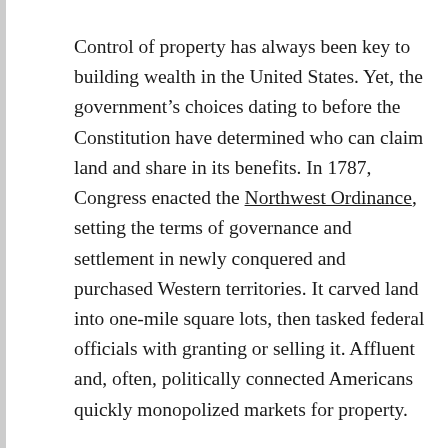Control of property has always been key to building wealth in the United States. Yet, the government's choices dating to before the Constitution have determined who can claim land and share in its benefits. In 1787, Congress enacted the Northwest Ordinance, setting the terms of governance and settlement in newly conquered and purchased Western territories. It carved land into one-mile square lots, then tasked federal officials with granting or selling it. Affluent and, often, politically connected Americans quickly monopolized markets for property.